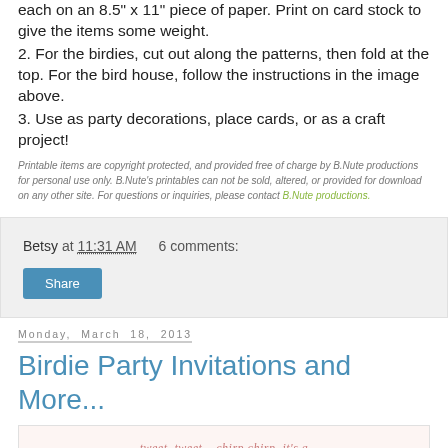each on an 8.5" x 11" piece of paper. Print on card stock to give the items some weight.
2. For the birdies, cut out along the patterns, then fold at the top. For the bird house, follow the instructions in the image above.
3. Use as party decorations, place cards, or as a craft project!
Printable items are copyright protected, and provided free of charge by B.Nute productions for personal use only. B.Nute's printables can not be sold, altered, or provided for download on any other site. For questions or inquiries, please contact B.Nute productions.
Betsy at 11:31 AM    6 comments:
Share
Monday, March 18, 2013
Birdie Party Invitations and More...
[Figure (illustration): Birdie Party invitation preview image with script text 'tweet, tweet... chirp chirp, it's a' and bold red text 'BIRDIE PARTY!']